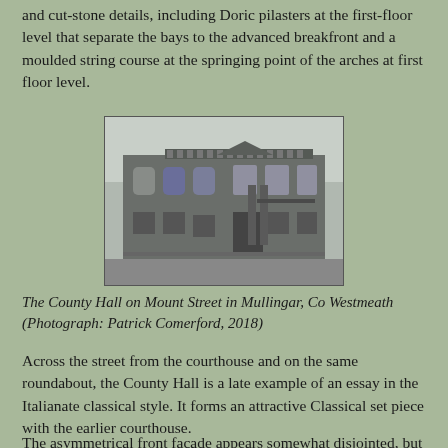and cut-stone details, including Doric pilasters at the first-floor level that separate the bays to the advanced breakfront and a moulded string course at the springing point of the arches at first floor level.
[Figure (photo): Photograph of the County Hall on Mount Street in Mullingar, Co Westmeath. A large classical stone building with arched windows, Doric columns, and a balustrade at the roofline.]
The County Hall on Mount Street in Mullingar, Co Westmeath (Photograph: Patrick Comerford, 2018)
Across the street from the courthouse and on the same roundabout, the County Hall is a late example of an essay in the Italianate classical style. It forms an attractive Classical set piece with the earlier courthouse.
The asymmetrical front façade appears somewhat disjointed, but it is well-built.